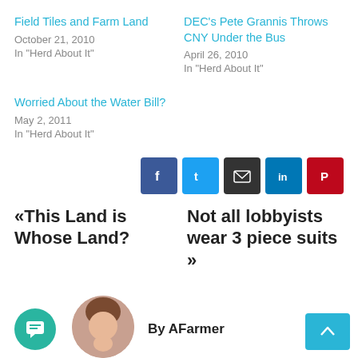Field Tiles and Farm Land
October 21, 2010
In "Herd About It"
DEC’s Pete Grannis Throws CNY Under the Bus
April 26, 2010
In "Herd About It"
Worried About the Water Bill?
May 2, 2011
In "Herd About It"
[Figure (infographic): Social share buttons: Facebook, Twitter, Email, LinkedIn, Pinterest]
« This Land is Whose Land?
Not all lobbyists wear 3 piece suits »
By AFarmer